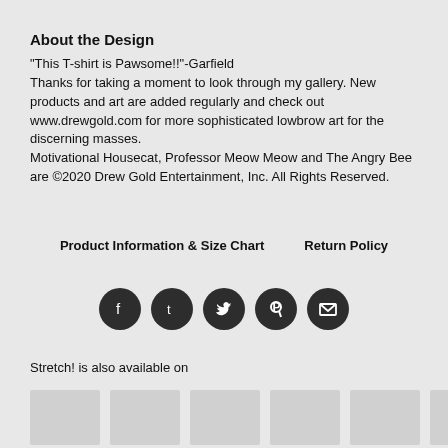About the Design
"This T-shirt is Pawsome!!"-Garfield
Thanks for taking a moment to look through my gallery. New products and art are added regularly and check out www.drewgold.com for more sophisticated lowbrow art for the discerning masses.
Motivational Housecat, Professor Meow Meow and The Angry Bee are ©2020 Drew Gold Entertainment, Inc. All Rights Reserved.
Product Information & Size Chart     Return Policy
[Figure (infographic): Row of 5 social media icon buttons (Facebook, Tumblr, Twitter, Pinterest, Email) as dark circular icons]
Stretch! is also available on
[Figure (other): Row of product thumbnail placeholder boxes]